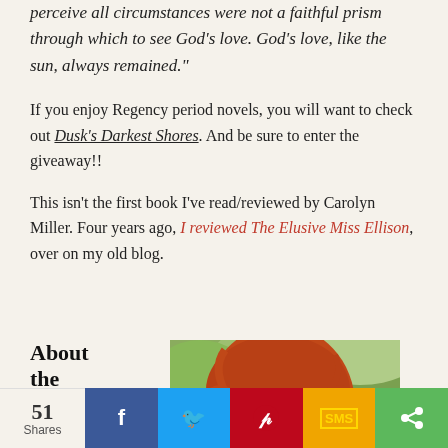perceive all circumstances were not a faithful prism through which to see God's love. God's love, like the sun, always remained."
If you enjoy Regency period novels, you will want to check out Dusk's Darkest Shores. And be sure to enter the giveaway!!
This isn't the first book I've read/reviewed by Carolyn Miller. Four years ago, I reviewed The Elusive Miss Ellison, over on my old blog.
About the author
Carolyn
[Figure (photo): Photo of a red-haired woman photographed outdoors with green foliage background]
51 Shares | Facebook | Twitter | Pinterest | SMS | Share